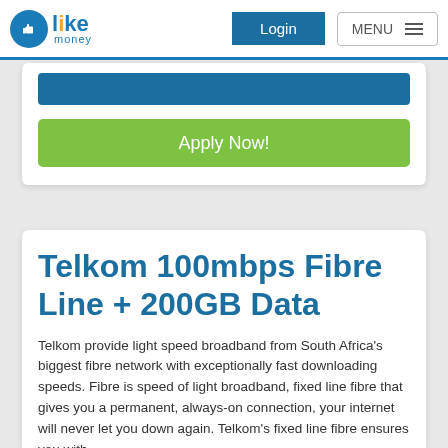[Figure (logo): LikeMoney logo with blue thumbs-up circle icon and blue/yellow text]
Login
MENU
Apply Now!
Telkom 100mbps Fibre Line + 200GB Data
Telkom provide light speed broadband from South Africa's biggest fibre network with exceptionally fast downloading speeds. Fibre is speed of light broadband, fixed line fibre that gives you a permanent, always-on connection, your internet will never let you down again. Telkom's fixed line fibre ensures...